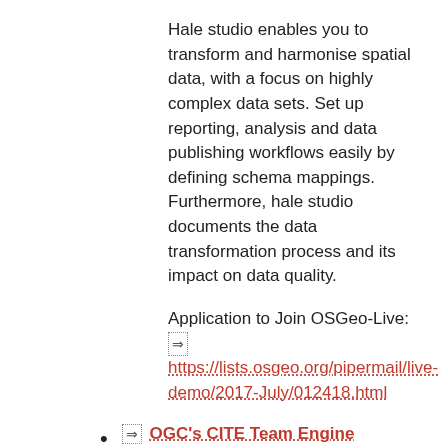Hale studio enables you to transform and harmonise spatial data, with a focus on highly complex data sets. Set up reporting, analysis and data publishing workflows easily by defining schema mappings. Furthermore, hale studio documents the data transformation process and its impact on data quality.
Application to Join OSGeo-Live: https://lists.osgeo.org/pipermail/live-demo/2017-July/012418.html
OGC's CITE Team Engine
The OGC's Conformance and Testing Engine for web services.
Likely ready for OSGeo-Live 10, after completion of moving TEAM Engine to a VM in OGC Testbed 12.
Contact: Luis Bermudez, Richard Martell
pygeoapi